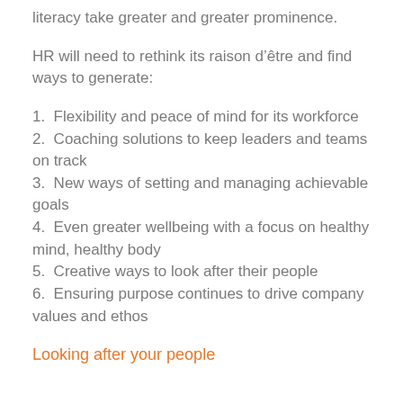literacy take greater and greater prominence.
HR will need to rethink its raison d’être and find ways to generate:
1. Flexibility and peace of mind for its workforce
2. Coaching solutions to keep leaders and teams on track
3. New ways of setting and managing achievable goals
4. Even greater wellbeing with a focus on healthy mind, healthy body
5. Creative ways to look after their people
6. Ensuring purpose continues to drive company values and ethos
Looking after your people